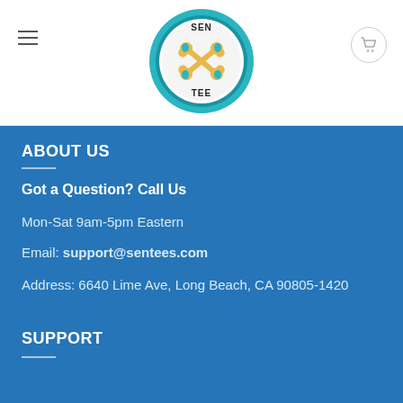[Figure (logo): Sen Tee logo: circular badge with teal border, dog paw prints and crossed bones graphic, text SEN TEE around center]
ABOUT US
Got a Question? Call Us
Mon-Sat 9am-5pm Eastern
Email: support@sentees.com
Address: 6640 Lime Ave, Long Beach, CA 90805-1420
SUPPORT